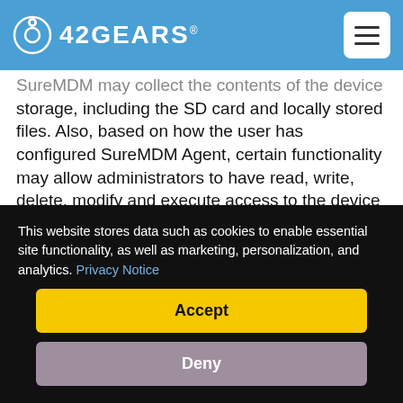42Gears
SureMDM may collect the contents of the device storage, including the SD card and locally stored files. Also, based on how the user has configured SureMDM Agent, certain functionality may allow administrators to have read, write, delete, modify and execute access to the device file system. The Storage Usage information is transmitted and stored in our secure SureMDM server. This allows administrators to download, upload and execute files
This website stores data such as cookies to enable essential site functionality, as well as marketing, personalization, and analytics. Privacy Notice
Accept
Deny